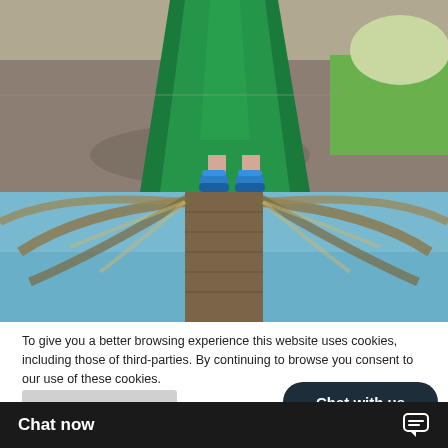[Figure (photo): Person wearing a green dress and blue platform sandals standing on a driveway, with grass and shrubs visible in the background.]
[Figure (photo): Looking up at a palm tree trunk against a clear blue sky.]
To give you a better browsing experience this website uses cookies, including those of third-parties. By continuing to browse you consent to our use of these cookies.
Learn More
OK
Chat with us
Chat now